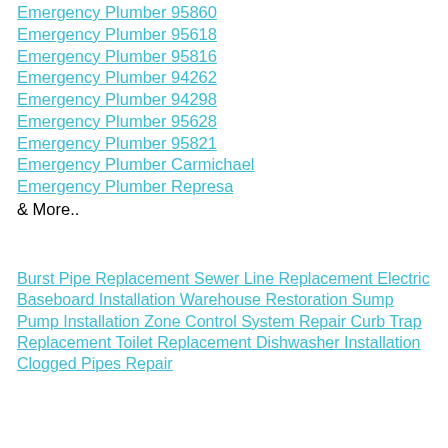Emergency Plumber 95860
Emergency Plumber 95618
Emergency Plumber 95816
Emergency Plumber 94262
Emergency Plumber 94298
Emergency Plumber 95628
Emergency Plumber 95821
Emergency Plumber Carmichael
Emergency Plumber Represa
& More..
Burst Pipe Replacement Sewer Line Replacement Electric Baseboard Installation Warehouse Restoration Sump Pump Installation Zone Control System Repair Curb Trap Replacement Toilet Replacement Dishwasher Installation Clogged Pipes Repair